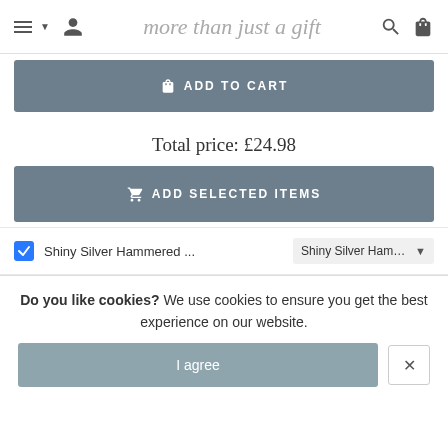more than just a gift
ADD TO CART
Total price: £24.98
ADD SELECTED ITEMS
Shiny Silver Hammered ...
Do you like cookies? We use cookies to ensure you get the best experience on our website.
I agree